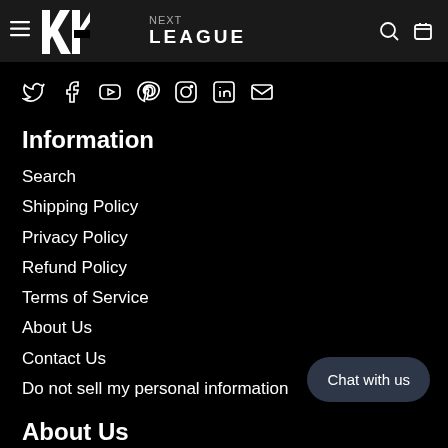HLC LEAGUE
[Figure (logo): HLC logo — geometric stylized letters in white on dark background]
[Figure (infographic): Social media icons row: Twitter, Facebook, YouTube, Pinterest, Instagram, LinkedIn, Email]
Information
Search
Shipping Policy
Privacy Policy
Refund Policy
Terms of Service
About Us
Contact Us
Do not sell my personal information
About Us